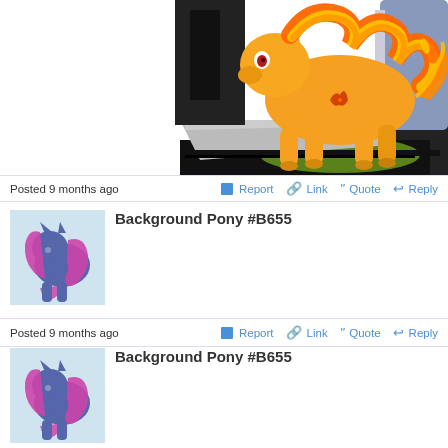[Figure (illustration): Partial image of an orange cartoon pony with flaming mane, on a dark stage floor with blue/grey background elements. Image is cropped at top.]
Posted 9 months ago  Report  Link  Quote  Reply
[Figure (illustration): Avatar: purple/blue pony silhouette with pink/magenta hair on light blue background]
Background Pony #B655
Posted 9 months ago  Report  Link  Quote  Reply
[Figure (illustration): Avatar: purple/blue pony silhouette with pink/magenta hair on light blue background]
Background Pony #B655